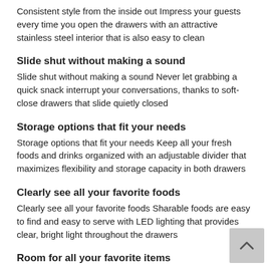Consistent style from the inside out Impress your guests every time you open the drawers with an attractive stainless steel interior that is also easy to clean
Slide shut without making a sound
Slide shut without making a sound Never let grabbing a quick snack interrupt your conversations, thanks to soft-close drawers that slide quietly closed
Storage options that fit your needs
Storage options that fit your needs Keep all your fresh foods and drinks organized with an adjustable divider that maximizes flexibility and storage capacity in both drawers
Clearly see all your favorite foods
Clearly see all your favorite foods Sharable foods are easy to find and easy to serve with LED lighting that provides clear, bright light throughout the drawers
Room for all your favorite items
Favorite wines are always perfectly chilled and ready to serve with a large 5.7 cu. ft. capacity that easily holds upright bottles
Room for all your favorite items